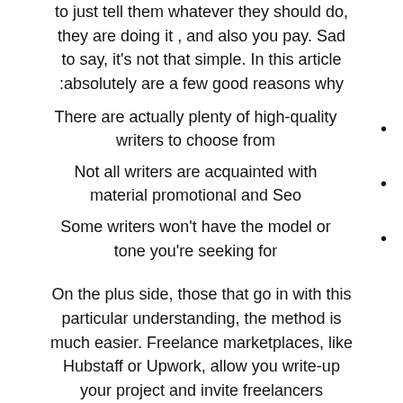to just tell them whatever they should do, they are doing it , and also you pay. Sad to say, it's not that simple. In this article :absolutely are a few good reasons why
There are actually plenty of high-quality writers to choose from
Not all writers are acquainted with material promotional and Seo
Some writers won't have the model or tone you're seeking for
On the plus side, those that go in with this particular understanding, the method is much easier. Freelance marketplaces, like Hubstaff or Upwork, allow you write-up your project and invite freelancers www.blogwriting2500.net to specific their desire . Writers then destination a bid on the job or ship you an explanation of why they'd be described as a good preference .
Following that, it is up to you to sort thru a